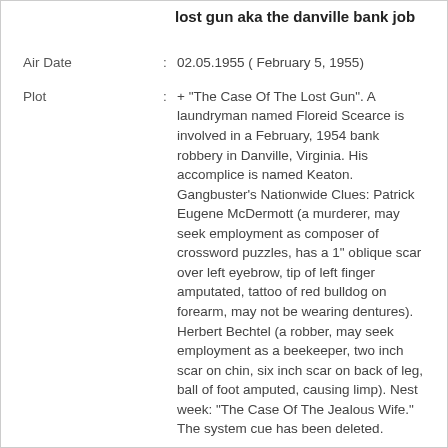lost gun aka the danville bank job
Air Date : 02.05.1955 ( February 5, 1955)
Plot : + "The Case Of The Lost Gun". A laundryman named Floreid Scearce is involved in a February, 1954 bank robbery in Danville, Virginia. His accomplice is named Keaton. Gangbuster's Nationwide Clues: Patrick Eugene McDermott (a murderer, may seek employment as composer of crossword puzzles, has a 1" oblique scar over left eyebrow, tip of left finger amputated, tattoo of red bulldog on forearm, may not be wearing dentures). Herbert Bechtel (a robber, may seek employment as a beekeeper, two inch scar on chin, six inch scar on back of leg, ball of foot amputed, causing limp). Nest week: "The Case Of The Jealous Wife." The system cue has been deleted.
File : Gang Busters 55-02-05 (0877) The Case Of The Lost Gun aka The Danville Bank Job.mp3
File Size : 7.85Mb